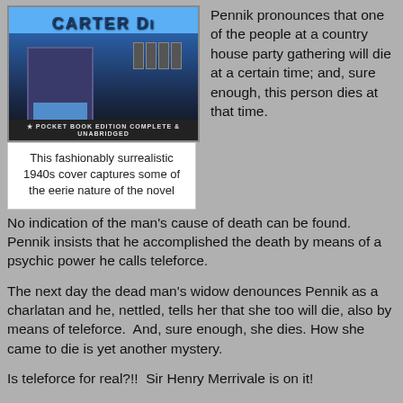[Figure (photo): Book cover: Carter Dickson pocket book edition, complete and unabridged, with surrealistic 1940s artwork showing dark and blue imagery]
This fashionably surrealistic 1940s cover captures some of the eerie nature of the novel
Pennik pronounces that one of the people at a country house party gathering will die at a certain time; and, sure enough, this person dies at that time.  No indication of the man's cause of death can be found.  Pennik insists that he accomplished the death by means of a psychic power he calls teleforce.
The next day the dead man's widow denounces Pennik as a charlatan and he, nettled, tells her that she too will die, also by means of teleforce.  And, sure enough, she dies. How she came to die is yet another mystery.
Is teleforce for real?!!  Sir Henry Merrivale is on it!
Most of us, I imagine, can think of thrillers with outlandish premises like this one that ultimately disappoint, but